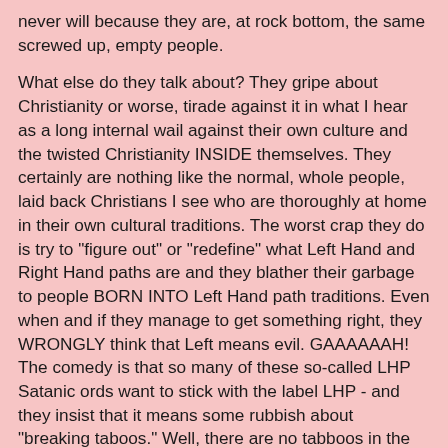never will because they are, at rock bottom, the same screwed up, empty people.

What else do they talk about? They gripe about Christianity or worse, tirade against it in what I hear as a long internal wail against their own culture and the twisted Christianity INSIDE themselves. They certainly are nothing like the normal, whole people, laid back Christians I see who are thoroughly at home in their own cultural traditions. The worst crap they do is try to "figure out" or "redefine" what Left Hand and Right Hand paths are and they blather their garbage to people BORN INTO Left Hand path traditions. Even when and if they manage to get something right, they WRONGLY think that Left means evil. GAAAAAAH! The comedy is that so many of these so-called LHP Satanic ords want to stick with the label LHP - and they insist that it means some rubbish about "breaking taboos." Well, there are no tabboos in the USA. There are LAWS. None of these tabboo breaking groups advocate breaking the law. This is LAUGHABLE. The SR defines RHP as yang and LHP as y in - and that is exactly what those terms meant in the culture I'm from - and they are also NOT opposed to each other. I will believe that these "Satanic" organizations are LHP in the wrong, tabboo breaking sense, WHEN THEY BREAK THE LAW AND ADVOCATE THAT. Otherwise, this is just one more example